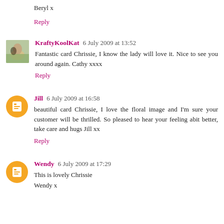Beryl x
Reply
KraftyKoolKat 6 July 2009 at 13:52
Fantastic card Chrissie, I know the lady will love it. Nice to see you around again. Cathy xxxx
Reply
Jill 6 July 2009 at 16:58
beautiful card Chrissie, I love the floral image and I'm sure your customer will be thrilled. So pleased to hear your feeling abit better, take care and hugs Jill xx
Reply
Wendy 6 July 2009 at 17:29
This is lovely Chrissie
Wendy x